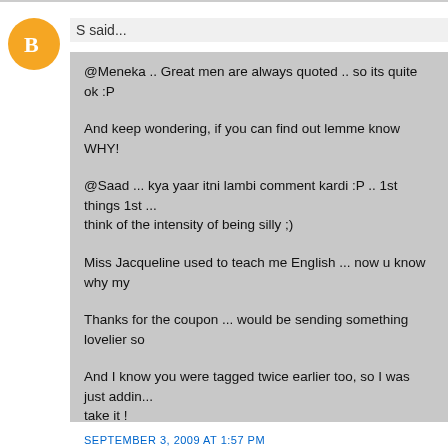S said...
@Meneka .. Great men are always quoted .. so its quite ok :P

And keep wondering, if you can find out lemme know WHY!

@Saad ... kya yaar itni lambi comment kardi :P .. 1st things 1st ... think of the intensity of being silly ;)

Miss Jacqueline used to teach me English ... now u know why my

Thanks for the coupon ... would be sending something lovelier so

And I know you were tagged twice earlier too, so I was just addin... take it !

And on a more horrendous note .. you have got some inspiration ... being an inspiration to each other :P
And yeah thanks for the liking :)
SEPTEMBER 3, 2009 AT 1:57 PM